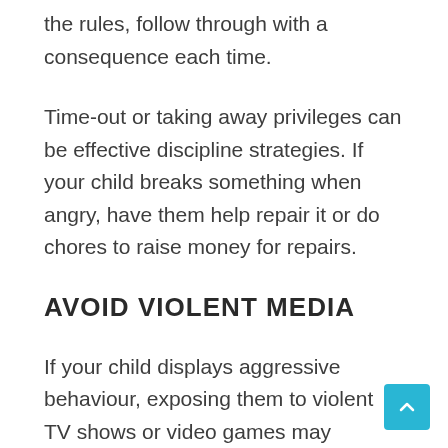the rules, follow through with a consequence each time.
Time-out or taking away privileges can be effective discipline strategies. If your child breaks something when angry, have them help repair it or do chores to raise money for repairs.
AVOID VIOLENT MEDIA
If your child displays aggressive behaviour, exposing them to violent TV shows or video games may exacerbate the problem.
Focus on exposing them to books, games and shows that model healthy conflict resolution